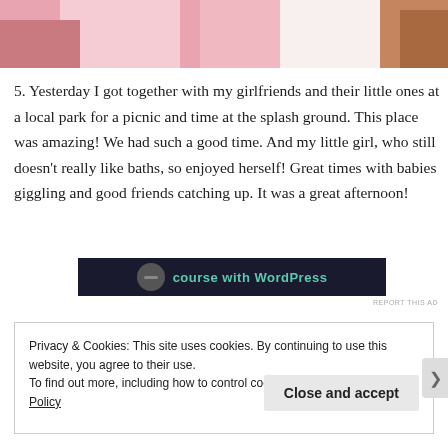[Figure (photo): Cropped photo showing pink and brown tones, likely a close-up of a child or person, partially visible at the top of the page.]
5. Yesterday I got together with my girlfriends and their little ones at a local park for a picnic and time at the splash ground. This place was amazing! We had such a good time. And my little girl, who still doesn't really like baths, so enjoyed herself! Great times with babies giggling and good friends catching up. It was a great afternoon!
[Figure (screenshot): Advertisement banner with dark background showing text 'course with WordPress' in teal/green color with a circular icon on the left.]
REPORT THIS AD
Privacy & Cookies: This site uses cookies. By continuing to use this website, you agree to their use.
To find out more, including how to control cookies, see here: Cookie Policy
Close and accept